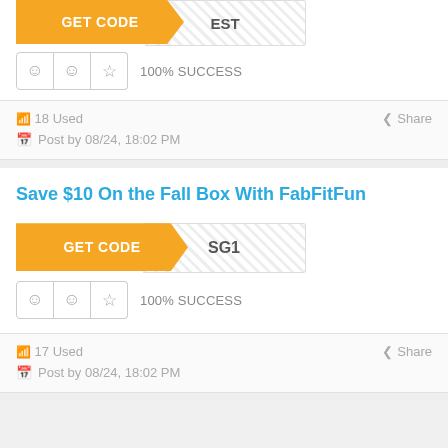[Figure (other): GET CODE button with partial coupon code 'EST' visible, orange left side with white text, hatched right side]
100% SUCCESS
18 Used
Share
Post by 08/24, 18:02 PM
Save $10 On the Fall Box With FabFitFun
[Figure (other): GET CODE button with partial coupon code 'SG1' visible, orange left side with white text, hatched right side]
100% SUCCESS
17 Used
Share
Post by 08/24, 18:02 PM